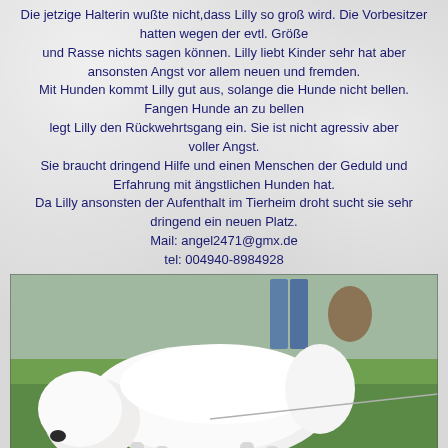Die jetzige Halterin wußte nicht,dass Lilly so groß wird. Die Vorbesitzer hatten wegen der evtl. Größe und Rasse nichts sagen können. Lilly liebt Kinder sehr hat aber ansonsten Angst vor allem neuen und fremden. Mit Hunden kommt Lilly gut aus, solange die Hunde nicht bellen. Fangen Hunde an zu bellen legt Lilly den Rückwehrtsgang ein. Sie ist nicht agressiv aber voller Angst. Sie braucht dringend Hilfe und einen Menschen der Geduld und Erfahrung mit ängstlichen Hunden hat. Da Lilly ansonsten der Aufenthalt im Tierheim droht sucht sie sehr dringend ein neuen Platz. Mail: angel2471@gmx.de tel: 004940-8984928
[Figure (photo): A large white fluffy dog (resembling an Old English Sheepdog or South Russian Ovcharka) on a leash, standing on green grass. A person in jeans is visible in the background.]